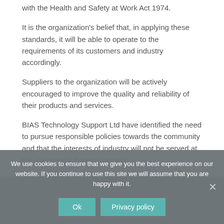with the Health and Safety at Work Act 1974.
It is the organization's belief that, in applying these standards, it will be able to operate to the requirements of its customers and industry accordingly.
Suppliers to the organization will be actively encouraged to improve the quality and reliability of their products and services.
BIAS Technology Support Ltd have identified the need to pursue responsible policies towards the community and that the interests of industry will not be served at the expense of the environment.
We use cookies to ensure that we give you the best experience on our website. If you continue to use this site we will assume that you are happy with it.